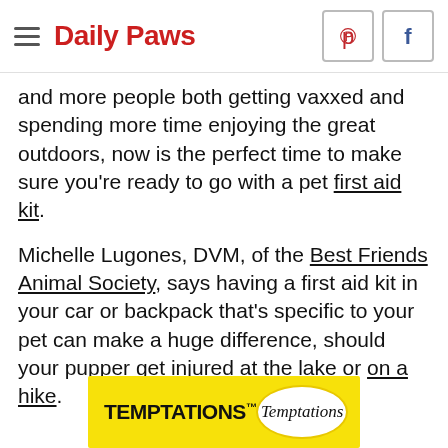Daily Paws
and more people both getting vaxxed and spending more time enjoying the great outdoors, now is the perfect time to make sure you're ready to go with a pet first aid kit.
Michelle Lugones, DVM, of the Best Friends Animal Society, says having a first aid kit in your car or backpack that's specific to your pet can make a huge difference, should your pupper get injured at the lake or on a hike.
[Figure (other): TEMPTATIONS cat treat advertisement banner with yellow background and Temptations logo in white oval]